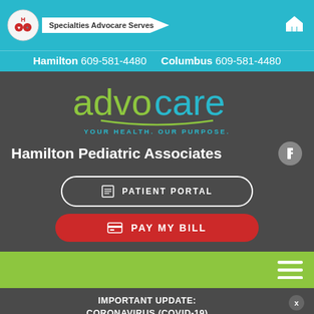[Figure (screenshot): Advocare website header with logo and navigation showing Specialties Advocare Serves, home icon]
Hamilton 609-581-4480   Columbus 609-581-4480
[Figure (logo): Advocare logo with green 'advo' and teal 'care' text, tagline YOUR HEALTH. OUR PURPOSE.]
Hamilton Pediatric Associates
PATIENT PORTAL
PAY MY BILL
IMPORTANT UPDATE: CORONAVIRUS (COVID-19)
OUR TOP PRIORITY IS THE HEALTH OF OUR PATIENTS, PROVIDERS, STAFF AND COMMUNITY. TELEVISITS ARE NOW AVAILABLE AS AN OPTION FOR APPOINTMENTS. LEARN MORE, AND GET THE LATEST COVID-19 UPDATES.